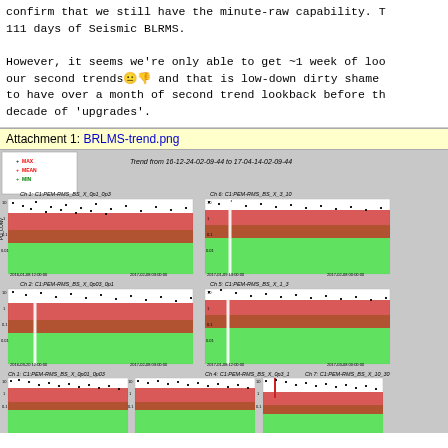confirm that we still have the minute-raw capability. T 111 days of Seismic BLRMS.

However, it seems we're only able to get ~1 week of loo our second trends 😐👎 and that is low-down dirty shame to have over a month of second trend lookback before th decade of 'upgrades'.
Attachment 1: BRLMS-trend.png
[Figure (continuous-plot): Seismic BLRMS trend plots showing multiple channels (C1:PEM-RMS_BS_X) over time from 16-12-24 to 17-04-14. Six subplot panels arranged in 3 rows by 2 columns, plus partial third column. Each panel shows MAX (black dots), MEAN (red), MIN (green) trends on a logarithmic y-axis (PO_CONV). Channels shown: Ch1 C1:PEM-RMS_BS_X_0p1_0p3, Ch6 C1:PEM-RMS_BS_X_3_10, Ch2 C1:PEM-RMS_BS_X_0p03_0p1, Ch5 C1:PEM-RMS_BS_X_1_3, Ch1 C1:PEM-RMS_BS_X_0p01_0p03, Ch4 C1:PEM-RMS_BS_X_0p3_1, Ch7 C1:PEM-RMS_BS_X_10_30. Title: Trend from 16-12-24-02-09-44 to 17-04-14-02-09-44]